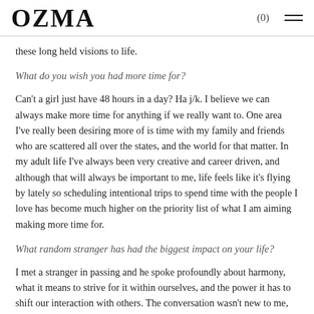OZMA (0) ≡
these long held visions to life.
What do you wish you had more time for?
Can't a girl just have 48 hours in a day? Ha j/k. I believe we can always make more time for anything if we really want to. One area I've really been desiring more of is time with my family and friends who are scattered all over the states, and the world for that matter. In my adult life I've always been very creative and career driven, and although that will always be important to me, life feels like it's flying by lately so scheduling intentional trips to spend time with the people I love has become much higher on the priority list of what I am aiming making more time for.
What random stranger has had the biggest impact on your life?
I met a stranger in passing and he spoke profoundly about harmony, what it means to strive for it within ourselves, and the power it has to shift our interaction with others. The conversation wasn't new to me, but more so his humble